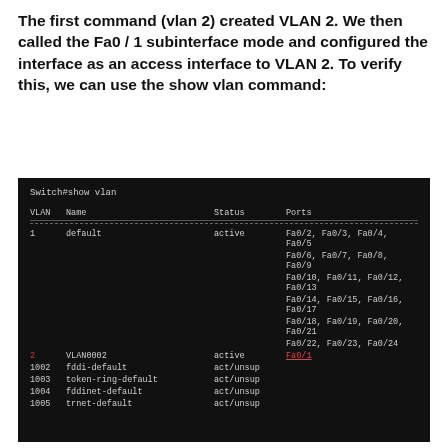The first command (vlan 2) created VLAN 2. We then called the Fa0 / 1 subinterface mode and configured the interface as an access interface to VLAN 2. To verify this, we can use the show vlan command:
[Figure (screenshot): Terminal output of 'Switch#show vlan' command showing VLAN table with VLAN 1 (default, active) on ports Fa0/2 through Fa0/24, VLAN 2 (VLAN0002, active) on Fa0/1, and VLANs 1002-1005 with act/unsup status.]